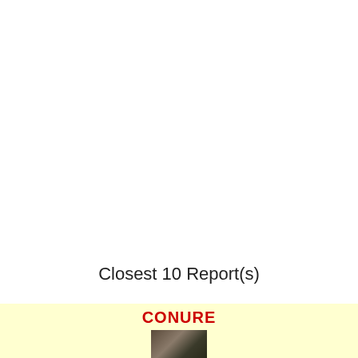Closest 10 Report(s)
CONURE
[Figure (photo): Small photo/thumbnail at the bottom of the page below CONURE heading]